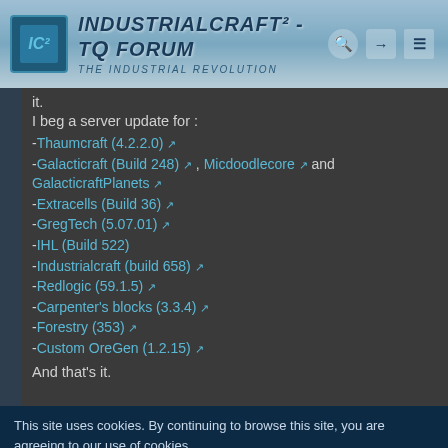IndustrialCraft² - The Forum | The Industrial Revolution
it.
I beg a server update for :
-Thaumcraft (4.2.2.0) [external link]
-Galacticraft (Build 248) [external link] , Micdoodlecore [external link] and GalacticraftPlanets [external link]
-Extracells (Build 36) [external link]
-GregTech (5.07.01) [external link]
-IHL (Build 522)
-Industrialcraft (build 658) [external link]
-Redlogic (59.1.5) [external link]
-Carpenter's blocks (3.3.4) [external link]
-Forestry (353) [external link]
-Custom OreGen (1.2.15) [external link]
And that's it.
This site uses cookies. By continuing to browse this site, you are agreeing to our use of cookies. More Details  Close